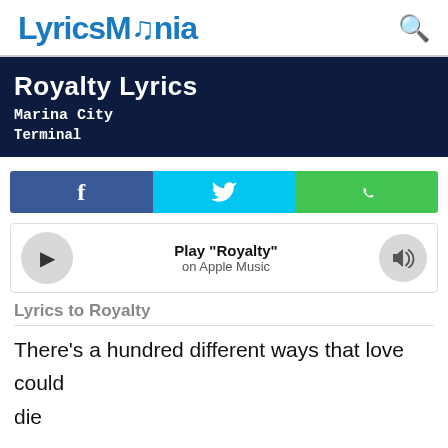LyricsMania
Royalty Lyrics
Marina City
Terminal
[Figure (infographic): Social share buttons: Facebook (blue), Twitter (cyan), WhatsApp (green)]
[Figure (infographic): Apple Music player bar with play button, 'Play "Royalty"' text, 'on Apple Music' subtext, and volume button]
Lyrics to Royalty
There's a hundred different ways that love could die
A million more why not tonight
I don't want to fight it
You. You sure can't hide it